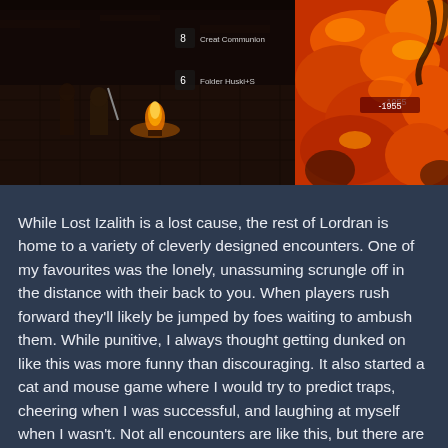[Figure (screenshot): Dark Souls video game screenshot showing a dark dungeon environment with lava/fire on the right side, a player character and bonfire in the center-left, with HUD elements showing item counts and a health bar. UI text reads '8 Creat Communion', '6 Folder Huski+S', and '-1955' damage number.]
While Lost Izalith is a lost cause, the rest of Lordran is home to a variety of cleverly designed encounters. One of my favourites was the lonely, unassuming scrungle off in the distance with their back to you. When players rush forward they'll likely be jumped by foes waiting to ambush them. While punitive, I always thought getting dunked on like this was more funny than discouraging. It also started a cat and mouse game where I would try to predict traps, cheering when I was successful, and laughing at myself when I wasn't. Not all encounters are like this, but there are enough traps and ambushes sprinkled in among standard combat engagements to keep things interesting.